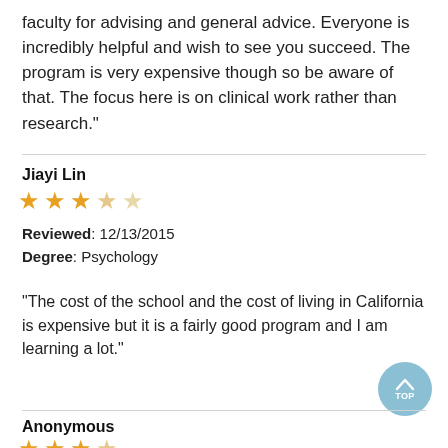faculty for advising and general advice. Everyone is incredibly helpful and wish to see you succeed. The program is very expensive though so be aware of that. The focus here is on clinical work rather than research."
Jiayi Lin
[Figure (other): 3 out of 5 stars rating]
Reviewed: 12/13/2015
Degree: Psychology
"The cost of the school and the cost of living in California is expensive but it is a fairly good program and I am learning a lot."
Anonymous
[Figure (other): Star rating for Anonymous reviewer (partial, cut off)]